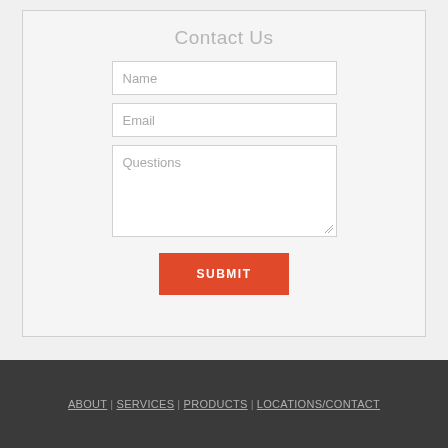Contact Us
[Figure (screenshot): Contact form with Name, Email, Questions fields and a red SUBMIT button]
ABOUT | SERVICES | PRODUCTS | LOCATIONS/CONTACT